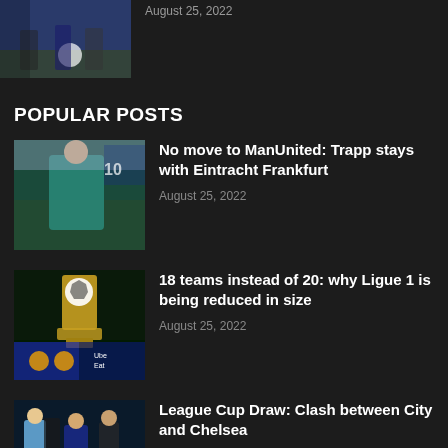[Figure (photo): Soccer players on field, partial view at top of page]
August 25, 2022
POPULAR POSTS
[Figure (photo): Goalkeeper in teal/green jersey on field]
No move to ManUnited: Trapp stays with Eintracht Frankfurt
August 25, 2022
[Figure (photo): Ligue 1 trophy on display with logo]
18 teams instead of 20: why Ligue 1 is being reduced in size
August 25, 2022
[Figure (photo): League Cup match between Manchester City and Chelsea players]
League Cup Draw: Clash between City and Chelsea
August 25, 2022